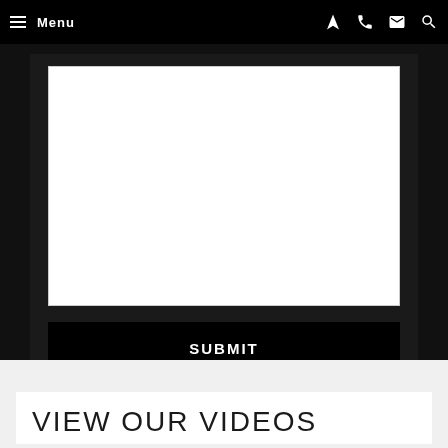Menu
[Figure (screenshot): Text area input field (white rectangle) inside a dark/black form section]
SUBMIT
VIEW OUR VIDEOS